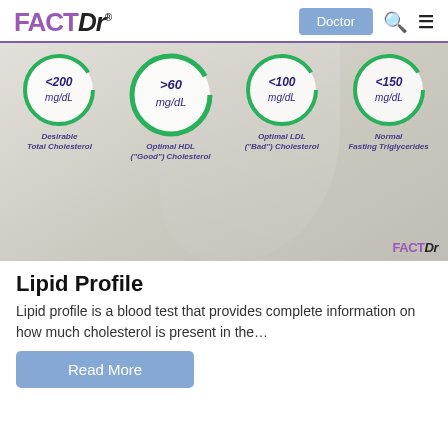FACTDr — Doctor | Search | Menu
[Figure (infographic): Medical infographic showing four green circles with cholesterol reference values: <200 mg/dL (Desirable Total Cholesterol), >60 mg/dL (Optimal HDL 'Good' Cholesterol), <100 mg/dL (Optimal LDL 'Bad' Cholesterol), <150 mg/dL (Normal Fasting Triglycerides). Background shows a hand with one finger pointing up, wearing a white coat. FACTDr watermark in bottom right.]
Lipid Profile
Lipid profile is a blood test that provides complete information on how much cholesterol is present in the…
Read More